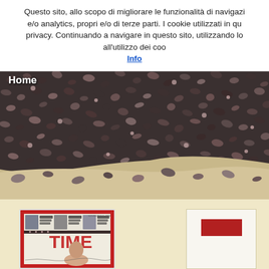Questo sito, allo scopo di migliorare le funzionalità di navigazi... e/o analytics, propri e/o di terze parti. I cookie utilizzati in qu... privacy. Continuando a navigare in questo sito, utilizzando lo... all'utilizzo dei coo...
Info
[Figure (photo): Aerial/close-up photo of dark gravel or crushed rock, brownish-black stones of various sizes covering most of the image, with a lighter sandy/rocky strip at the bottom right.]
Home
[Figure (photo): TIME magazine cover thumbnail showing a person (likely an Asian woman) on the cover, with article headlines: 'Why Obama's Presidency Has Already Begun...', '...And Joe Klein On Why Bush's Is Already Over', 'Holiday Movies: The Good, the Bad And the Oscar Bait'. The TIME logo is visible in large red letters.]